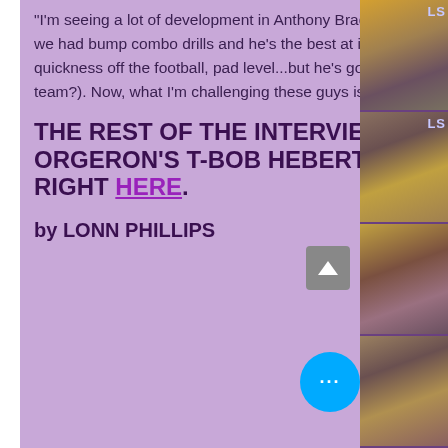"I'm seeing a lot of development in Anthony Bradford. You know we had one on ones, we had bump combo drills and he's the best at it. As far as physical tools, hip explosion, quickness off the football, pad level...but he's gotta learn how to put it all together (in the team?). Now, what I'm challenging these guys is to get in great shape...."
THE REST OF THE INTERVIEW WITH COACH ORGERON'S T-BOB HEBERT & JACOB HESTER IS RIGHT HERE.
by LONN PHILLIPS
[Figure (photo): Strip of photos on the right side showing LSU football players and coaches in purple and gold gear, with LSU text visible]